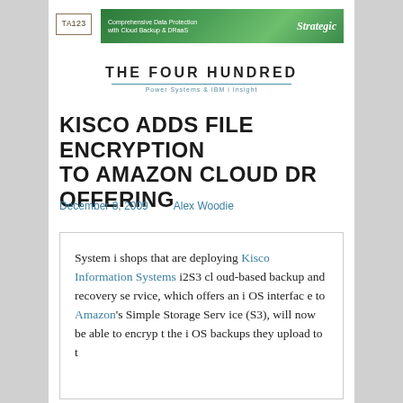[Figure (other): Advertisement banner: 'Comprehensive Data Protection with Cloud Backup & DRaaS' with 'Strategic' branding, green gradient background]
[Figure (logo): TA123 logo box with brown border]
THE FOUR HUNDRED
Power Systems & IBM i Insight
KISCO ADDS FILE ENCRYPTION TO AMAZON CLOUD DR OFFERING
December 8, 2009    Alex Woodie
System i shops that are deploying Kisco Information Systems i2S3 cloud-based backup and recovery service, which offers an i OS interface to Amazon's Simple Storage Service (S3), will now be able to encrypt the i OS backups they upload to t